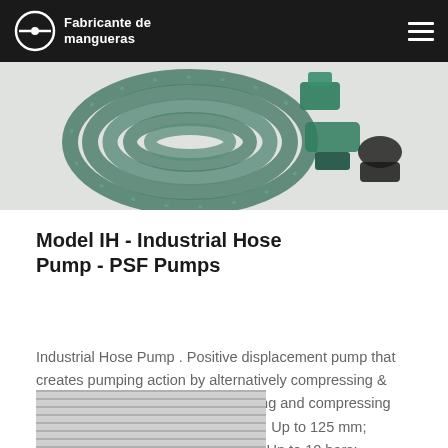Fabricante de mangueras
[Figure (photo): Photo of a green garden hose coiled, with green plastic fittings/connectors.]
Model IH - Industrial Hose Pump - PSF Pumps
[Figure (illustration): Blue chat bubble / messaging app icon overlay with an X close button.]
Industrial Hose Pump . Positive displacement pump that creates pumping action by alternatively compressing & relaxing hose between pump housing and compressing rollers Operating Data. Pump Sizes: Up to 125 mm; Capacity: Up to 65m3/hr; Pressure: Up to 10 bars;
[Figure (photo): Bottom partial photo showing industrial pump or metal equipment surface.]